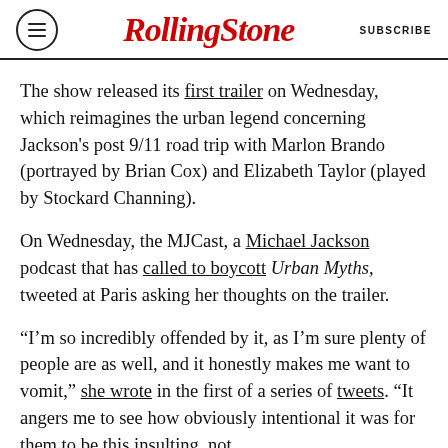RollingStone | SUBSCRIBE
The show released its first trailer on Wednesday, which reimagines the urban legend concerning Jackson's post 9/11 road trip with Marlon Brando (portrayed by Brian Cox) and Elizabeth Taylor (played by Stockard Channing).
On Wednesday, the MJCast, a Michael Jackson podcast that has called to boycott Urban Myths, tweeted at Paris asking her thoughts on the trailer.
“I’m so incredibly offended by it, as I’m sure plenty of people are as well, and it honestly makes me want to vomit,” she wrote in the first of a series of tweets. “It angers me to see how obviously intentional it was for them to be this insulting, not